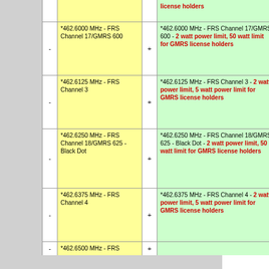|  | Frequency |  | Description |
| --- | --- | --- | --- |
| -  | *462.6000 MHz - FRS Channel 17/GMRS 600 | + | *462.6000 MHz - FRS Channel 17/GMRS 600 - 2 watt power limit, 50 watt limit for GMRS license holders |
| -  | *462.6125 MHz - FRS Channel 3 | + | *462.6125 MHz - FRS Channel 3 - 2 watt power limit, 5 watt power limit for GMRS license holders |
| -  | *462.6250 MHz - FRS Channel 18/GMRS 625 - Black Dot | + | *462.6250 MHz - FRS Channel 18/GMRS 625 - Black Dot - 2 watt power limit, 50 watt limit for GMRS license holders |
| -  | *462.6375 MHz - FRS Channel 4 | + | *462.6375 MHz - FRS Channel 4 - 2 watt power limit, 5 watt power limit for GMRS license holders |
| -  | *462.6500 MHz - FRS... | + |  |